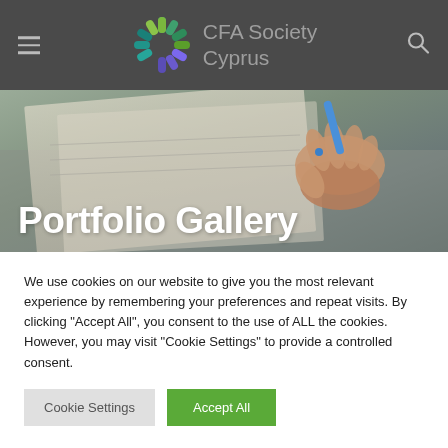CFA Society Cyprus
Portfolio Gallery
We use cookies on our website to give you the most relevant experience by remembering your preferences and repeat visits. By clicking "Accept All", you consent to the use of ALL the cookies. However, you may visit "Cookie Settings" to provide a controlled consent.
Cookie Settings
Accept All